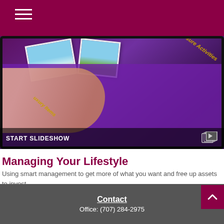Navigation menu header bar
[Figure (photo): A person holding a tablet device displaying photos of leisure activities including a sailboat and the Eiffel Tower, with purple background cards labeled 'Luxury Items' and 'Leisure Activities'. A 'START SLIDESHOW' overlay is shown at the bottom of the image with a slideshow icon.]
Managing Your Lifestyle
Using smart management to get more of what you want and free up assets to invest.
Contact
Office: (707) 284-2975